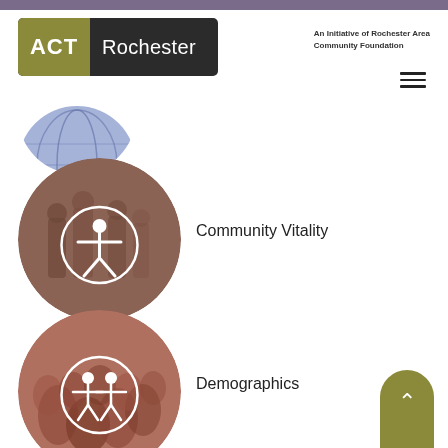[Figure (logo): ACT Rochester logo with olive green ACT block and dark background, next to text 'An Initiative of Rochester Area Community Foundation']
[Figure (illustration): Partial circular photo (cut off at top) showing a globe-like image in blue/purple tones]
[Figure (illustration): Circle image with sepia-toned photo of people outdoors and white icon of a person with outstretched arms inside a circle, labeled Community Vitality]
Community Vitality
[Figure (illustration): Circle image with reddish-toned photo of a crowd of people and white icon of two figures inside a circle, labeled Demographics]
Demographics